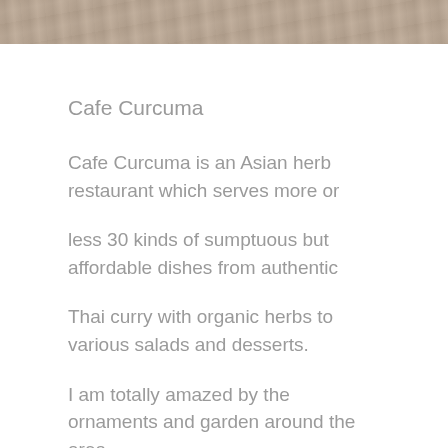[Figure (photo): Top portion of a food/restaurant photo showing what appears to be dishes on a wooden table surface, cropped at the top of the page]
Cafe Curcuma
Cafe Curcuma is an Asian herb restaurant which serves more or
less 30 kinds of sumptuous but affordable dishes from authentic
Thai curry with organic herbs to various salads and desserts.
I am totally amazed by the ornaments and garden around the area.